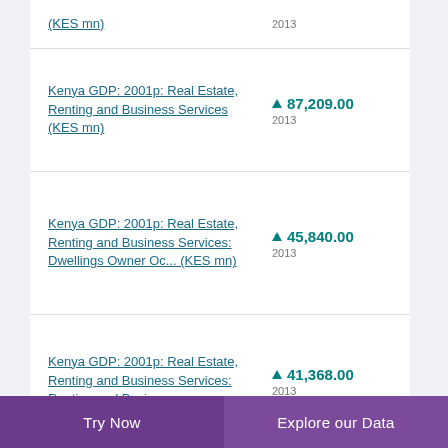(KES mn)
Kenya GDP: 2001p: Real Estate, Renting and Business Services (KES mn)
Kenya GDP: 2001p: Real Estate, Renting and Business Services: Dwellings Owner Oc... (KES mn)
Kenya GDP: 2001p: Real Estate, Renting and Business Services: Renting and Busine...
Try Now    Explore our Data